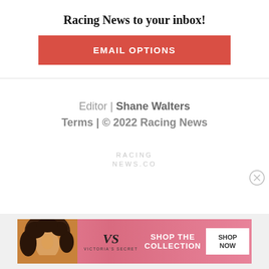Racing News to your inbox!
EMAIL OPTIONS
Editor | Shane Walters
Terms | © 2022 Racing News
[Figure (logo): RACINGNEWS.CO watermark text in light gray uppercase letters]
[Figure (illustration): Close button circle with X symbol on right side]
[Figure (photo): Victoria's Secret advertisement banner showing a woman with curly hair, VS logo, text SHOP THE COLLECTION, and SHOP NOW button]